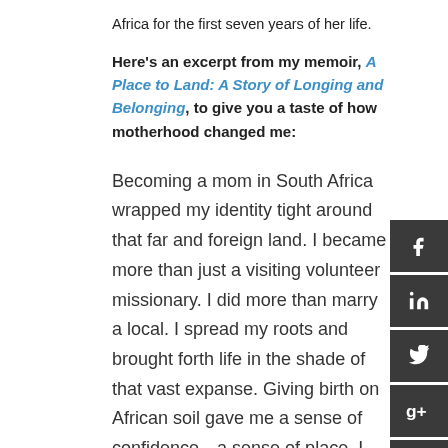Africa for the first seven years of her life.
Here's an excerpt from my memoir, A Place to Land: A Story of Longing and Belonging, to give you a taste of how motherhood changed me:
Becoming a mom in South Africa wrapped my identity tight around that far and foreign land. I became more than just a visiting volunteer missionary. I did more than marry a local. I spread my roots and brought forth life in the shade of that vast expanse. Giving birth on African soil gave me a sense of confidence—a sense of place. I suddenly had someone else to care for besides myself. Though my sweet girl was half American, she was just as much South African. She belonged—and through her, I felt that I did too. She held a birthright as a citizen of that beautiful rainbow nation—and as her